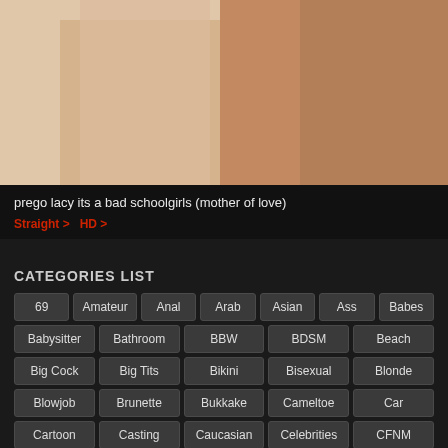[Figure (photo): Blurred/cropped video thumbnail showing a person]
prego lacy its a bad schoolgirls (mother of love)
Straight > HD >
CATEGORIES LIST
69
Amateur
Anal
Arab
Asian
Ass
Babes
Babysitter
Bathroom
BBW
BDSM
Beach
Big Cock
Big Tits
Bikini
Bisexual
Blonde
Blowjob
Brunette
Bukkake
Cameltoe
Car
Cartoon
Casting
Caucasian
Celebrities
CFNM
Chubby
Close Up
College
Compilation
Couple